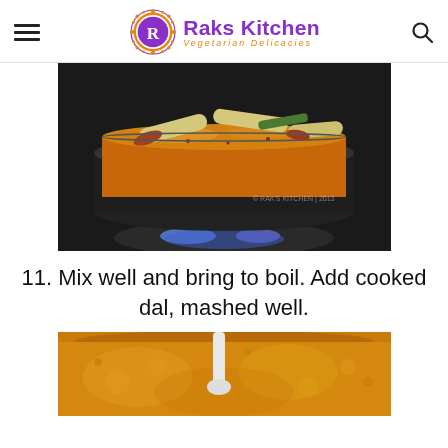Raks Kitchen — Vegetarian Delicacies
[Figure (photo): A cooking pot on a gas stove with a yellow-orange curry containing drumstick pieces and green chili, boiling on a flame]
11. Mix well and bring to boil. Add cooked dal, mashed well.
[Figure (photo): A close-up of a bowl with yellow-orange dal/sambar being stirred with a ladle, boiling vigorously]